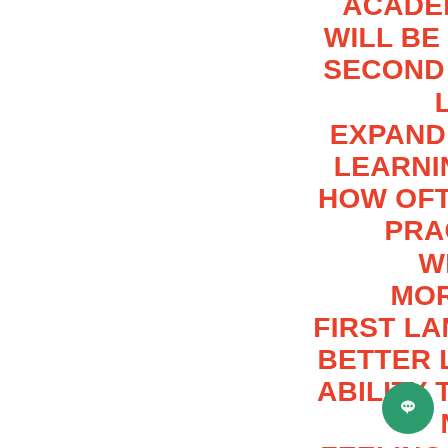ACADEMIC LITERACY ETC WILL BE TRANSFERRED TO SECOND LANGUAGE WHEN LEARNT. CHILDREN EXPAND THEIR LANGUAGE LEARNING DEPENDING ON HOW OFTEN THEY USE AND PRACTICE IT. PARENTS WHO COMMUNICATE MORE OFTEN IN THEIR FIRST LANGUAGE DEVELOP BETTER LINGUISTIC SKILLS ABILITY TO EXPRESS THEIR NEEDS, IDEAS AND FEELINGS. IF CHILDREN DO NOT ACQUIRE THEIR FIRST LANGUAGE, IT MAY BECOME A PROBLEM FOR THEM IN THE FUTURE TO EXPRESS THEIR THOUGHTS EFFICIENTLY (COLLIER